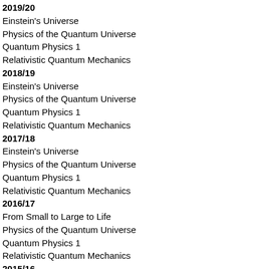2019/20
Einstein's Universe
Physics of the Quantum Universe
Quantum Physics 1
Relativistic Quantum Mechanics
2018/19
Einstein's Universe
Physics of the Quantum Universe
Quantum Physics 1
Relativistic Quantum Mechanics
2017/18
Einstein's Universe
Physics of the Quantum Universe
Quantum Physics 1
Relativistic Quantum Mechanics
2016/17
From Small to Large to Life
Physics of the Quantum Universe
Quantum Physics 1
Relativistic Quantum Mechanics
2015/16
From Small to Large to Life
Introduction NExT
Relativistic Quantum Mechanics
Student Seminar Quantum Universe
2014/15
From Small to Large to Life